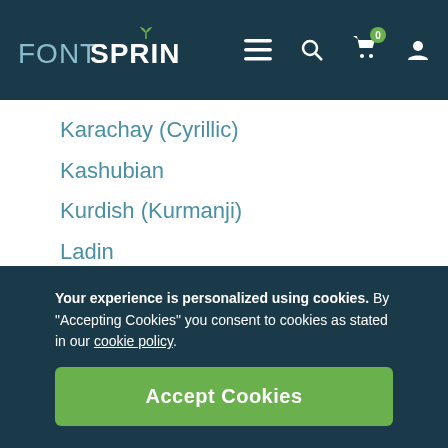FONTSPRING [navigation menu, search, cart (0), account icons]
Karachay (Cyrillic)
Kashubian
Kurdish (Kurmanji)
Ladin
Latvian
Lithuanian
Lojban
Lombard
Low Saxon
Luxembourgian
Macedonian
Your experience is personalized using cookies. By "Accepting Cookies" you consent to cookies as stated in our cookie policy.
Accept Cookies